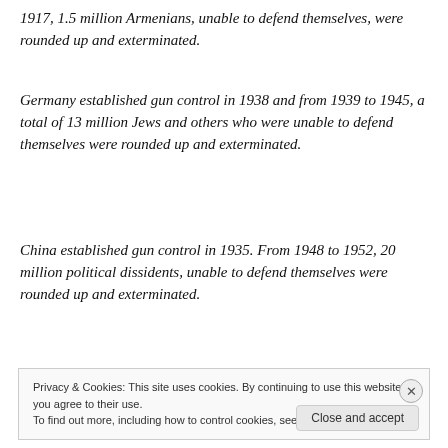1917, 1.5 million Armenians, unable to defend themselves, were rounded up and exterminated.
Germany established gun control in 1938 and from 1939 to 1945, a total of 13 million Jews and others who were unable to defend themselves were rounded up and exterminated.
China established gun control in 1935. From 1948 to 1952, 20 million political dissidents, unable to defend themselves were rounded up and exterminated.
Privacy & Cookies: This site uses cookies. By continuing to use this website, you agree to their use. To find out more, including how to control cookies, see here: Cookie Policy